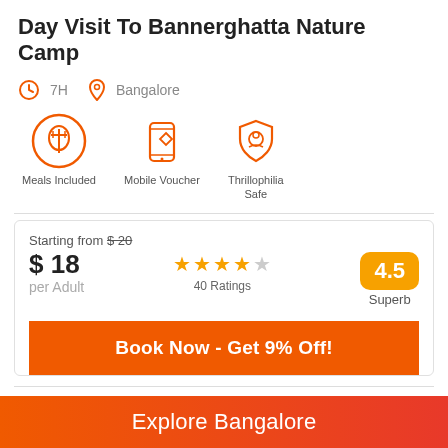Day Visit To Bannerghatta Nature Camp
7H   Bangalore
[Figure (infographic): Three feature icons: Meals Included (fork/plate), Mobile Voucher (phone with tag), Thrillophilia Safe (shield with person)]
Starting from $20
$ 18
per Adult
★★★★☆ 40 Ratings
4.5 Superb
Book Now - Get 9% Off!
Newly Added Bangalore Experience
Explore Bangalore